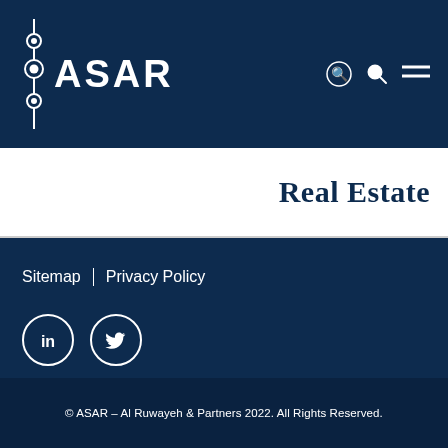[Figure (logo): ASAR Al Ruwayeh & Partners law firm logo — white text 'ASAR' with decorative icon on dark navy background header]
Real Estate
Sitemap | Privacy Policy
[Figure (illustration): LinkedIn and Twitter social media icons in white circles]
© ASAR – Al Ruwayeh & Partners 2022. All Rights Reserved.